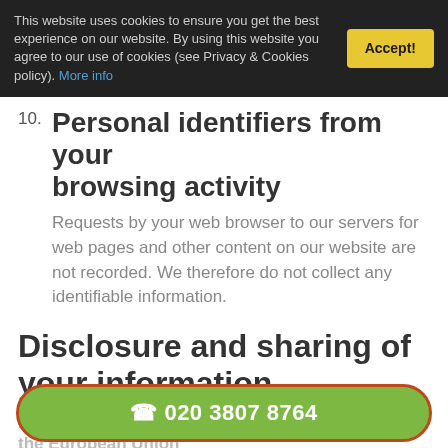This website uses cookies to ensure you get the best experience on our website. By using this website you agree to our use of cookies (see Privacy & Cookies policy). More info
10. Personal identifiers from your browsing activity
Requests by your web browser to our servers for web pages and other content on our website are not recorded. We therefore do not collect any identifiable information.
Disclosure and sharing of your information
11 Data is not processed outside the European Union
☎ 020 3807 8764